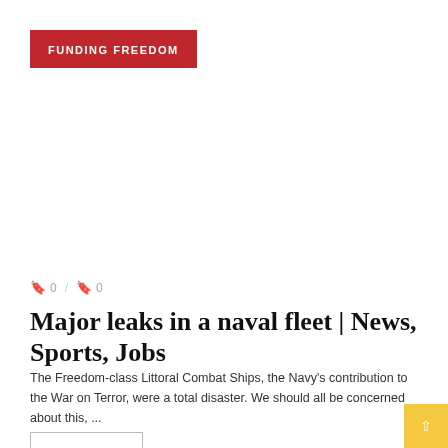FUNDING FREEDOM
🔖 0 / 🔖 0
Major leaks in a naval fleet | News, Sports, Jobs
The Freedom-class Littoral Combat Ships, the Navy's contribution to the War on Terror, were a total disaster. We should all be concerned about this, ...
READ MORE